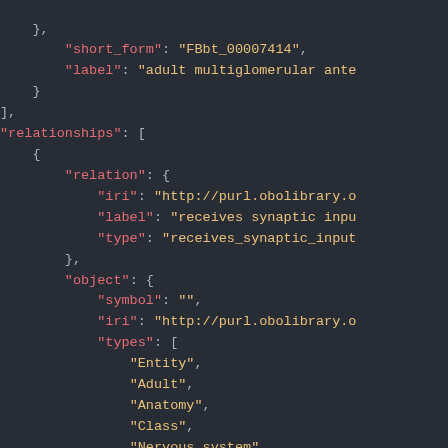JSON code snippet showing relationships data with short_form, label, relation (iri, label, type), and object (symbol, iri, types: Entity, Adult, Anatomy, Class, Nervous_system, Synaptic_neuropil)